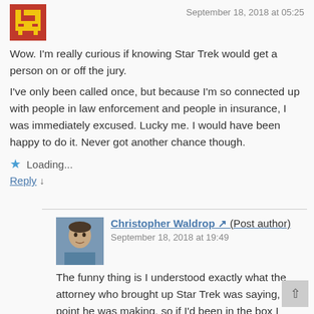[Figure (illustration): Red pixelated avatar icon (8-bit style, brick-red background with yellow pixel character)]
September 18, 2018 at 05:25
Wow. I'm really curious if knowing Star Trek would get a person on or off the jury.
I've only been called once, but because I'm so connected up with people in law enforcement and people in insurance, I was immediately excused. Lucky me. I would have been happy to do it. Never got another chance though.
Loading...
Reply ↓
[Figure (photo): Profile photo of Christopher Waldrop, a man in a blue shirt]
Christopher Waldrop (Post author)
September 18, 2018 at 19:49
The funny thing is I understood exactly what the attorney who brought up Star Trek was saying, the point he was making, so if I'd been in the box I probably would have been selected, as long as the opposing counsel didn't reject me. The case was